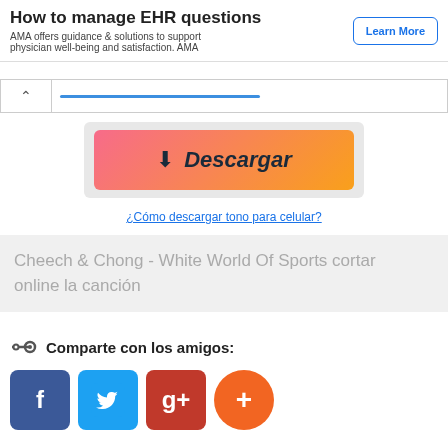How to manage EHR questions
AMA offers guidance & solutions to support physician well-being and satisfaction. AMA
[Figure (screenshot): A collapse/expand bar with a chevron up arrow and a blue underline indicator]
[Figure (illustration): A gradient download button (pink to orange) with a download arrow icon and the italic text 'Descargar']
¿Cómo descargar tono para celular?
Cheech & Chong - White World Of Sports cortar online la canción
Comparte con los amigos:
[Figure (illustration): Social sharing icons: Facebook (blue), Twitter (light blue), Google+ (red), and a circular orange plus button]